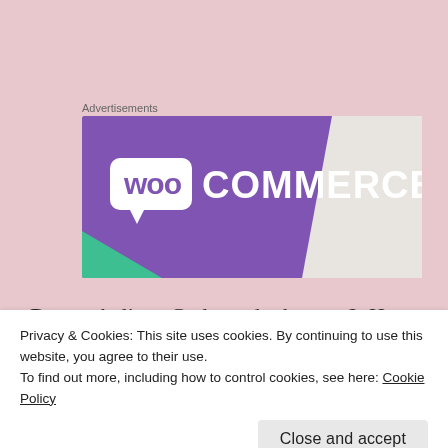Advertisements
[Figure (logo): WooCommerce advertisement banner with purple background showing WooCommerce logo in white, with a teal/green triangle accent on the lower left and grey/white geometric shapes on the right.]
Do you believe God can do that you?  He most definitely can.  If God cares enough to use rotten bananas to make a deliciously sweet and fluffy bread, if He cares enough
Privacy & Cookies: This site uses cookies. By continuing to use this website, you agree to their use.
To find out more, including how to control cookies, see here: Cookie Policy
Close and accept
undoubtedly transform you.  Are you willing to let go